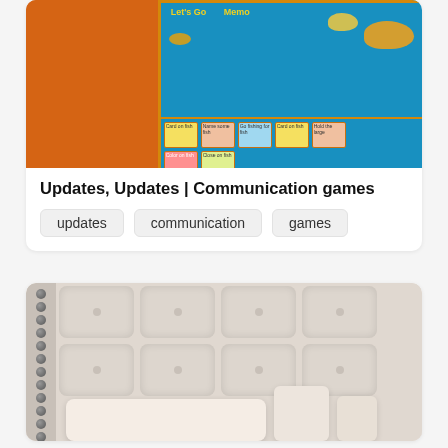[Figure (photo): Board game box with orange paint splash on left side and teal board game with fish and board squares visible on right side]
Updates, Updates | Communication games
updates
communication
games
[Figure (photo): White tufted headboard with nailhead trim on left side, cream/beige pillows in foreground]